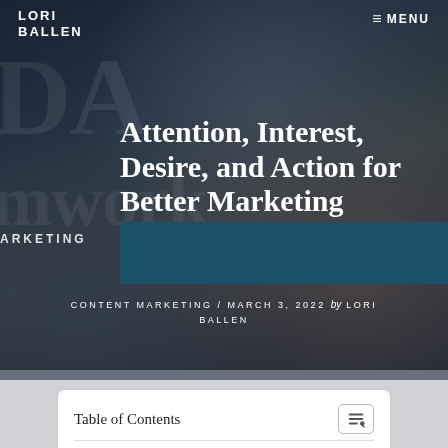LORI BALLEN
≡ MENU
[Figure (photo): Dark-toned website hero image showing a person's hands typing on a laptop at a desk with books, a plant, and a coffee mug in a blurred office background. Large decorative letters and the word 'framework' visible in the background.]
Attention, Interest, Desire, and Action for Better Marketing
CONTENT MARKETING / MARCH 3, 2022 by LORI BALLEN
Table of Contents
AIDA Framework Example...